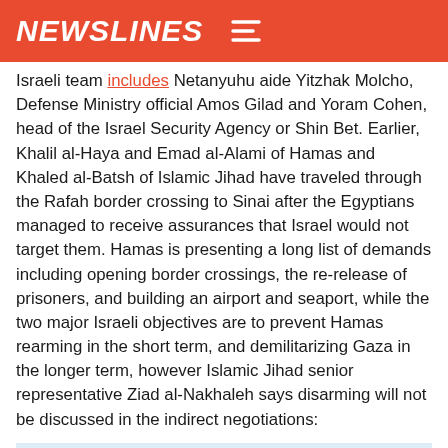NEWSLINES
Israeli team includes Netanyuhu aide Yitzhak Molcho, Defense Ministry official Amos Gilad and Yoram Cohen, head of the Israel Security Agency or Shin Bet. Earlier, Khalil al-Haya and Emad al-Alami of Hamas and Khaled al-Batsh of Islamic Jihad have traveled through the Rafah border crossing to Sinai after the Egyptians managed to receive assurances that Israel would not target them. Hamas is presenting a long list of demands including opening border crossings, the re-release of prisoners, and building an airport and seaport, while the two major Israeli objectives are to prevent Hamas rearming in the short term, and demilitarizing Gaza in the longer term, however Islamic Jihad senior representative Ziad al-Nakhaleh says disarming will not be discussed in the indirect negotiations:
This issue is nonnegotiable.
‘Mission accomplished’
Gaza
Hamas
Israel
Israel Defense Forces